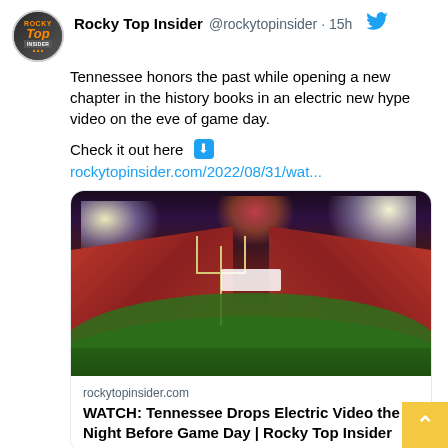Rocky Top Insider @rockytopinsider · 15h
Tennessee honors the past while opening a new chapter in the history books in an electric new hype video on the eve of game day.

Check it out here ⬇
rockytopinsider.com/2022/08/31/wat...
[Figure (photo): Wide-angle photo of a packed football stadium at night with fireworks and bright stadium lights, field goal posts visible, crowd in orange filling the stands]
rockytopinsider.com
WATCH: Tennessee Drops Electric Video the Night Before Game Day | Rocky Top Insider